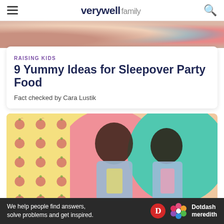verywell family
[Figure (photo): Cropped top of children at a party or gathering with snacks visible]
RAISING KIDS
9 Yummy Ideas for Sleepover Party Food
Fact checked by Cara Lustik
[Figure (photo): A man and a young girl looking down at something, cooking or crafting together, with a colorful background featuring apple patterns, pink and teal circles]
Ad
We help people find answers, solve problems and get inspired. Dotdash meredith